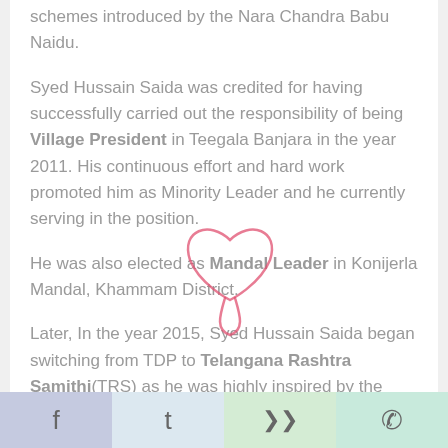schemes introduced by the Nara Chandra Babu Naidu.
Syed Hussain Saida was credited for having successfully carried out the responsibility of being Village President in Teegala Banjara in the year 2011. His continuous effort and hard work promoted him as Minority Leader and he currently serving in the position.
He was also elected as Mandal Leader in Konijerla Mandal, Khammam District.
Later, In the year 2015, Syed Hussain Saida began switching from TDP to Telangana Rashtra Samithi(TRS) as he was highly inspired by the party founder
Facebook | Twitter | Share | WhatsApp